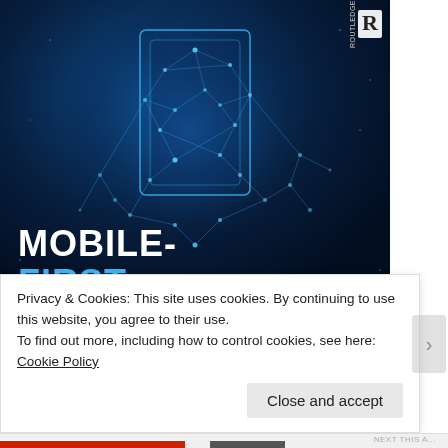[Figure (illustration): Book cover of 'Mobile-First' showing a wireframe/polygon hand holding a smartphone, on a dark navy blue background with blue network dot-and-line patterns. The Routledge publisher logo is in the top right corner. The title 'MOBILE-FIRST' is shown in large white and blue bold text at the bottom left, with additional title text partially cut off.]
Privacy & Cookies: This site uses cookies. By continuing to use this website, you agree to their use.
To find out more, including how to control cookies, see here: Cookie Policy